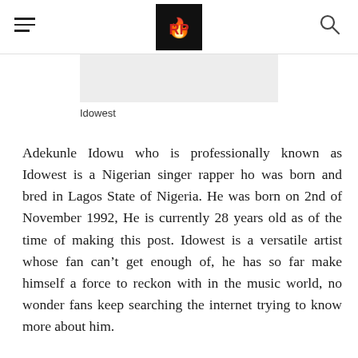Idowest blog header with logo and navigation
[Figure (photo): Partial image of Idowest (cropped, light gray placeholder visible at top of page)]
Idowest
Adekunle Idowu who is professionally known as Idowest is a Nigerian singer rapper ho was born and bred in Lagos State of Nigeria. He was born on 2nd of November 1992, He is currently 28 years old as of the time of making this post. Idowest is a versatile artist whose fan can't get enough of, he has so far make himself a force to reckon with in the music world, no wonder fans keep searching the internet trying to know more about him.